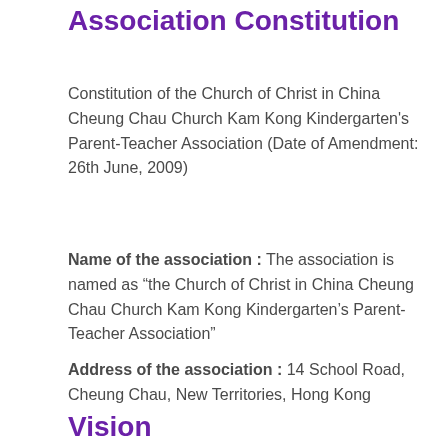Association Constitution
Constitution of the Church of Christ in China Cheung Chau Church Kam Kong Kindergarten's Parent-Teacher Association (Date of Amendment: 26th June, 2009)
Name of the association : The association is named as “the Church of Christ in China Cheung Chau Church Kam Kong Kindergarten’s Parent-Teacher Association”
Address of the association : 14 School Road, Cheung Chau, New Territories, Hong Kong
Vision